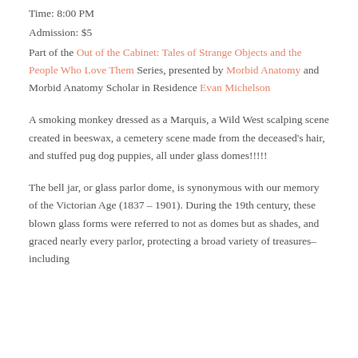Time: 8:00 PM
Admission: $5
Part of the Out of the Cabinet: Tales of Strange Objects and the People Who Love Them Series, presented by Morbid Anatomy and Morbid Anatomy Scholar in Residence Evan Michelson
A smoking monkey dressed as a Marquis, a Wild West scalping scene created in beeswax, a cemetery scene made from the deceased’s hair, and stuffed pug dog puppies, all under glass domes!!!!!
The bell jar, or glass parlor dome, is synonymous with our memory of the Victorian Age (1837 – 1901). During the 19th century, these blown glass forms were referred to not as domes but as shades, and graced nearly every parlor, protecting a broad variety of treasures–including